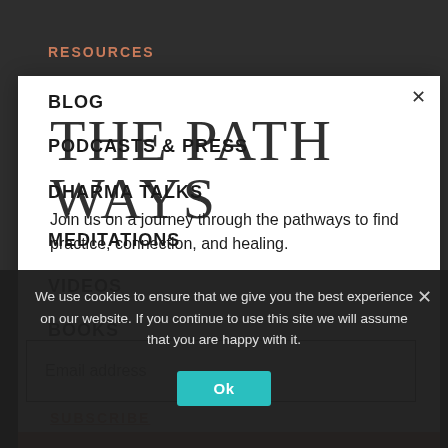RESOURCES
BLOG
PODCASTS & PRESS
THE PATHWAYS
DHARMA TALKS
Join us on a journey through the pathways to find practice, connection, and healing.
MEDITATIONS
VIDEOS
BOOKS
Email address
SUBSCRIBE
FIND YOUR PATH
We use cookies to ensure that we give you the best experience on our website. If you continue to use this site we will assume that you are happy with it.
Ok